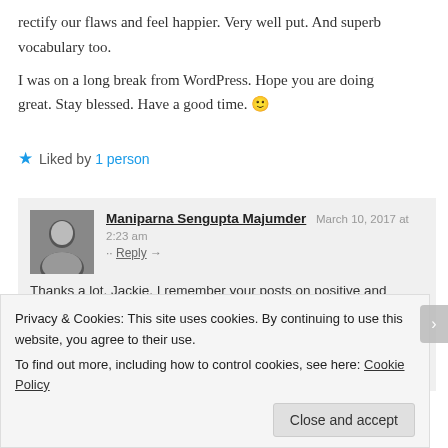rectify our flaws and feel happier. Very well put. And superb vocabulary too.
I was on a long break from WordPress. Hope you are doing great. Stay blessed. Have a good time. 🙂
★ Liked by 1 person
Maniparna Sengupta Majumder  March 10, 2017 at 2:23 am  Reply →
Thanks a lot, Jackie. I remember your posts on positive and negative thoughts…really inspiring.
Glad you liked the points mentioned here. Hope to see you more on WP. I miss your thoughtful posts… 🙂 Stay happy,
Privacy & Cookies: This site uses cookies. By continuing to use this website, you agree to their use.
To find out more, including how to control cookies, see here: Cookie Policy
Close and accept